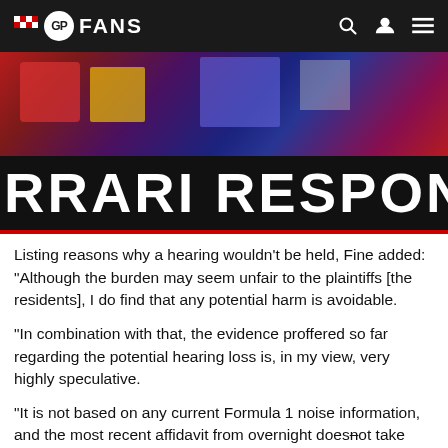GP FANS
[Figure (screenshot): GPFans website header with logo and hero image showing Ferrari article with text 'RRARI RESPOND' in large white bold text on black background, with F1/Ferrari imagery above]
Listing reasons why a hearing wouldn't be held, Fine added: "Although the burden may seem unfair to the plaintiffs [the residents], I do find that any potential harm is avoidable.
"In combination with that, the evidence proffered so far regarding the potential hearing loss is, in my view, very highly speculative.
"It is not based on any current Formula 1 noise information, and the most recent affidavit from overnight does not take into consideration the south wall [a noise barrier previously erected at the venue]."